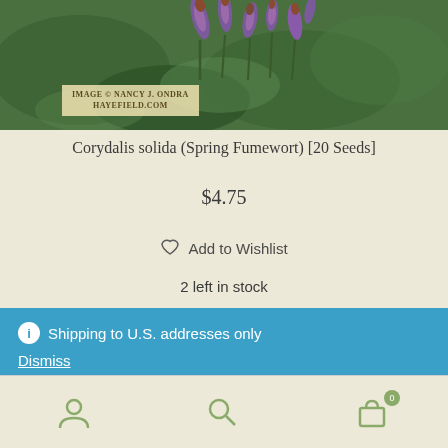[Figure (photo): Photo of Corydalis solida (Spring Fumewort) purple flowers with green foliage. Watermark reads IMAGE © NANCY J. ONDRA HAYEFIELD.COM]
Corydalis solida (Spring Fumewort) [20 Seeds]
$4.75
♡ Add to Wishlist
2 left in stock
ⓘ Shipping to U.S. addresses only Dismiss